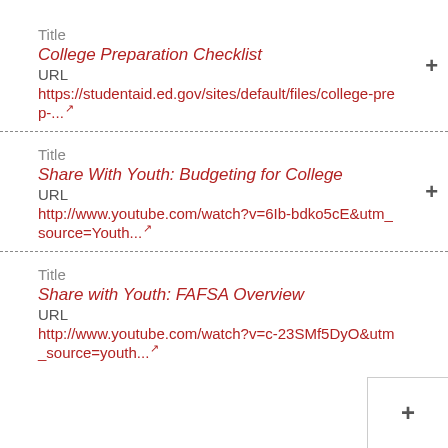Title
College Preparation Checklist
URL
https://studentaid.ed.gov/sites/default/files/college-prep-...
Title
Share With Youth: Budgeting for College
URL
http://www.youtube.com/watch?v=6Ib-bdko5cE&utm_source=Youth...
Title
Share with Youth: FAFSA Overview
URL
http://www.youtube.com/watch?v=c-23SMf5DyO&utm_source=youth...